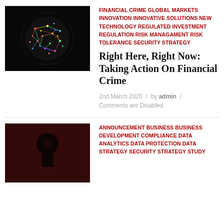[Figure (photo): Colorful network sphere visualization on black background]
FINANCIAL CRIME GLOBAL MARKETS INNOVATION INNOVATIVE SOLUTIONS NEW TECHNOLOGY REGULATED INVESTMENT REGULATION RISK MANAGAMENT RISK TOLERANCE SECURITY STRATEGY
Right Here, Right Now: Taking Action On Financial Crime
2nd March 2020 / by admin / Comments are Disabled
[Figure (photo): Silhouette of keyhole shape on dark red textured background]
ANNOUNCEMENT BUSINESS BUSINESS DEVELOPMENT COMPLIANCE DATA ANALYTICS DATA PROTECTION DATA STRATEGY SECURITY STRATEGY STUDY